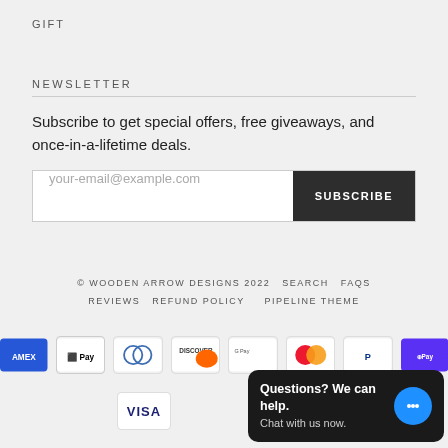GIFT
NEWSLETTER
Subscribe to get special offers, free giveaways, and once-in-a-lifetime deals.
your-email@example.com  SUBSCRIBE
© WOODEN ARROW DESIGNS 2022   SEARCH   FAQS   REVIEWS   REFUND POLICY   PIPELINE THEME
[Figure (other): Payment method icons: American Express, Apple Pay, Diners Club, Discover, Google Pay, Mastercard, PayPal, Shop Pay, Visa]
Questions? We can help. Chat with us now.